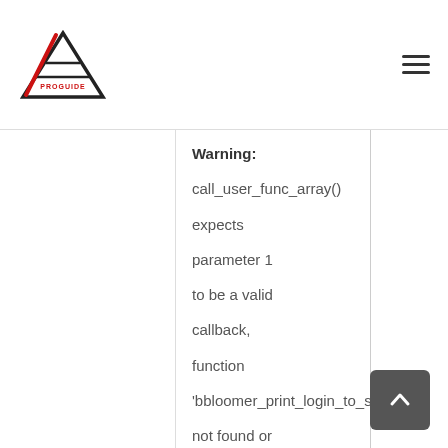[Figure (logo): Triangle/mountain logo with red diagonal stripe and black lines, with 'PROGUIDE' text]
[Figure (other): Hamburger menu icon (three horizontal lines)]
Warning: call_user_func_array() expects parameter 1 to be a valid callback, function 'bbloomer_print_login_to_see' not found or invalid function